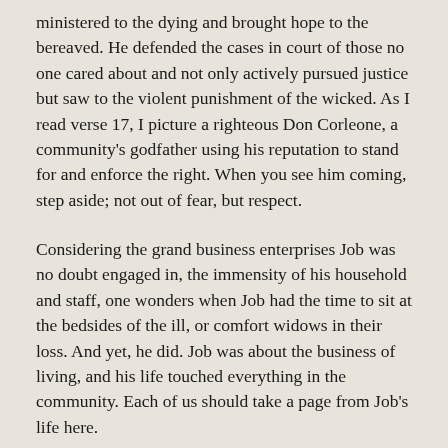ministered to the dying and brought hope to the bereaved. He defended the cases in court of those no one cared about and not only actively pursued justice but saw to the violent punishment of the wicked. As I read verse 17, I picture a righteous Don Corleone, a community's godfather using his reputation to stand for and enforce the right. When you see him coming, step aside; not out of fear, but respect.
Considering the grand business enterprises Job was no doubt engaged in, the immensity of his household and staff, one wonders when Job had the time to sit at the bedsides of the ill, or comfort widows in their loss. And yet, he did. Job was about the business of living, and his life touched everything in the community. Each of us should take a page from Job's life here.